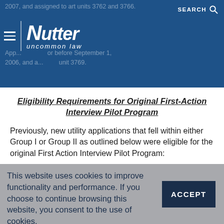2007, and assigned to art units 3762 and 3766. App... or before September 1, 2006, and a... unit 3769.
[Figure (logo): Nutter logo with tagline 'uncommon law' and hamburger menu, search icon on right]
Eligibility Requirements for Original First-Action Interview Pilot Program
Previously, new utility applications that fell within either Group I or Group II as outlined below were eligible for the original First Action Interview Pilot Program:
This website uses cookies to improve functionality and performance. If you choose to continue browsing this website, you consent to the use of cookies.